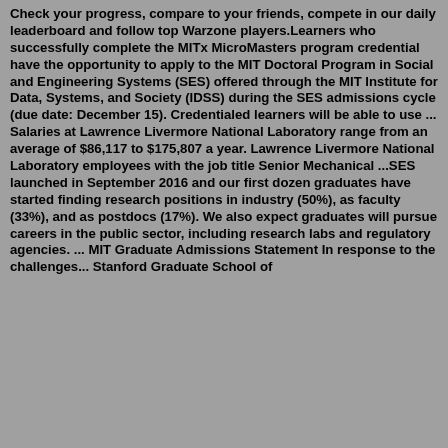Check your progress, compare to your friends, compete in our daily leaderboard and follow top Warzone players.Learners who successfully complete the MITx MicroMasters program credential have the opportunity to apply to the MIT Doctoral Program in Social and Engineering Systems (SES) offered through the MIT Institute for Data, Systems, and Society (IDSS) during the SES admissions cycle (due date: December 15). Credentialed learners will be able to use ... Salaries at Lawrence Livermore National Laboratory range from an average of $86,117 to $175,807 a year. Lawrence Livermore National Laboratory employees with the job title Senior Mechanical ...SES launched in September 2016 and our first dozen graduates have started finding research positions in industry (50%), as faculty (33%), and as postdocs (17%). We also expect graduates will pursue careers in the public sector, including research labs and regulatory agencies. ... MIT Graduate Admissions Statement In response to the challenges... Stanford Graduate School of